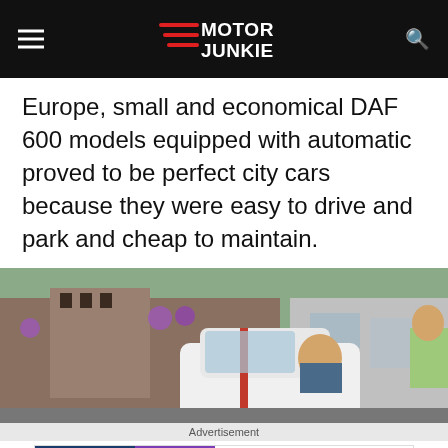Motor Junkie
Europe, small and economical DAF 600 models equipped with automatic proved to be perfect city cars because they were easy to drive and park and cheap to maintain.
[Figure (photo): Photograph of a vintage DAF 600 city car in a street setting, with a woman visible near the car and another vehicle beside it. Red and white two-tone body, urban background with brick buildings and purple flowers.]
Advertisement
[Figure (screenshot): Advertisement banner for Rollic mobile game 'They Are Coming!' with Ad badge, game thumbnail image, Rollic purple logo, text 'They Are Coming!' and Download link.]